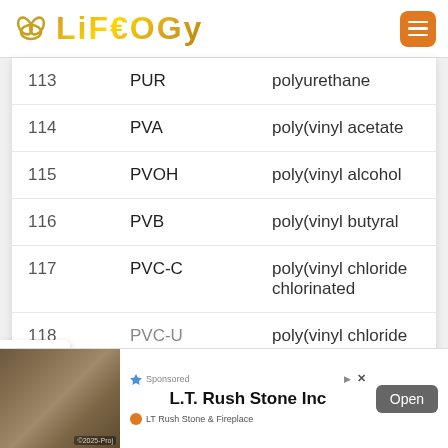LIFEOGY
| # | Abbr | Full name |
| --- | --- | --- |
| 113 | PUR | polyurethane |
| 114 | PVA | poly(vinyl acetate |
| 115 | PVOH | poly(vinyl alcohol |
| 116 | PVB | poly(vinyl butyral |
| 117 | PVC-C | poly(vinyl chloride chlorinated |
| 118 | PVC-U | poly(vinyl chloride |
[Figure (screenshot): Advertisement banner for L.T. Rush Stone Inc featuring a stone fireplace image, with an Open button]